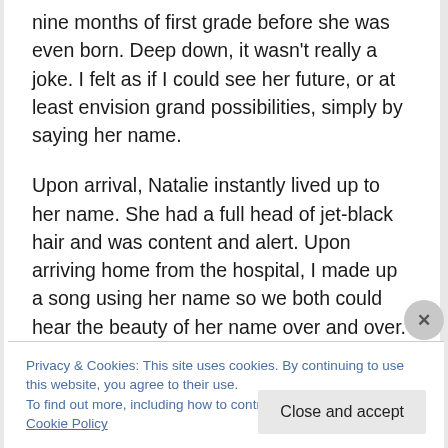nine months of first grade before she was even born. Deep down, it wasn't really a joke. I felt as if I could see her future, or at least envision grand possibilities, simply by saying her name.

Upon arrival, Natalie instantly lived up to her name. She had a full head of jet-black hair and was content and alert. Upon arriving home from the hospital, I made up a song using her name so we both could hear the beauty of her name over and over. Through her early years, Natalie's
Privacy & Cookies: This site uses cookies. By continuing to use this website, you agree to their use.
To find out more, including how to control cookies, see here: Cookie Policy